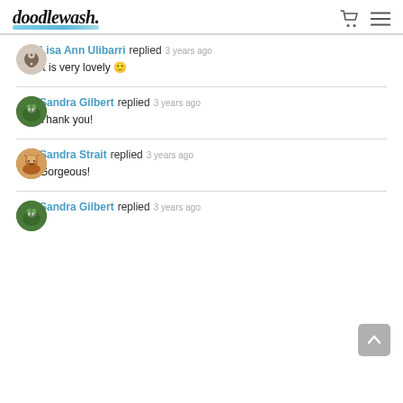doodlewash.
Lisa Ann Ulibarri replied 3 years ago
It is very lovely 🙂
Sandra Gilbert replied 3 years ago
Thank you!
Sandra Strait replied 3 years ago
Gorgeous!
Sandra Gilbert replied 3 years ago